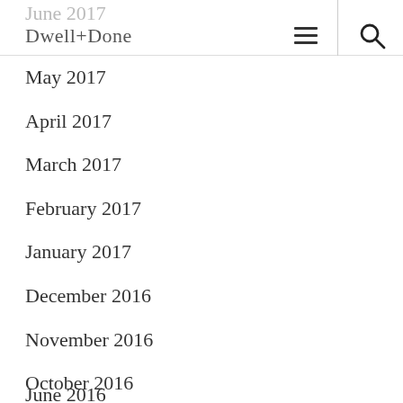Dwell+Done
May 2017
April 2017
March 2017
February 2017
January 2017
December 2016
November 2016
October 2016
September 2016
August 2016
July 2016
June 2016